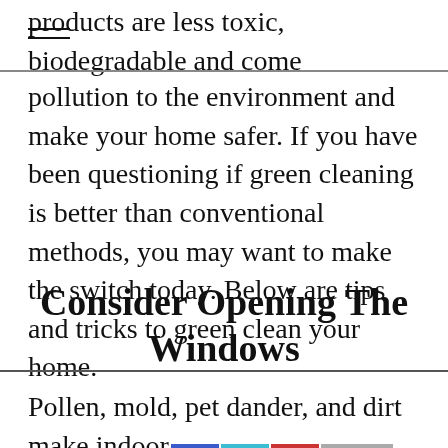products are less toxic, biodegradable and come in sustainable packaging, they cause much less
pollution to the environment and make your home safer. If you have been questioning if green cleaning is better than conventional methods, you may want to make the switch today. Below are tips and tricks to green clean your home.
Consider Opening The Windows
Pollen, mold, pet dander, and dirt make indoor